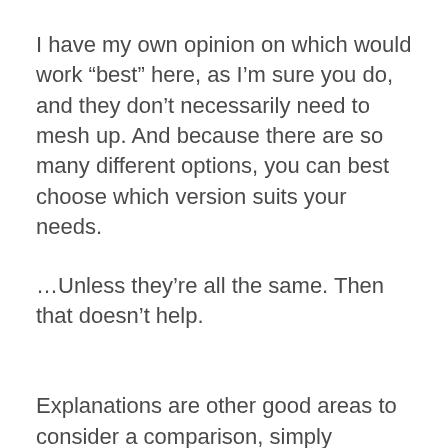I have my own opinion on which would work “best” here, as I’m sure you do, and they don’t necessarily need to mesh up. And because there are so many different options, you can best choose which version suits your needs.
…Unless they’re all the same. Then that doesn’t help.
Explanations are other good areas to consider a comparison, simply because they’re long enough to allow each group’s eccentricities to shine through.